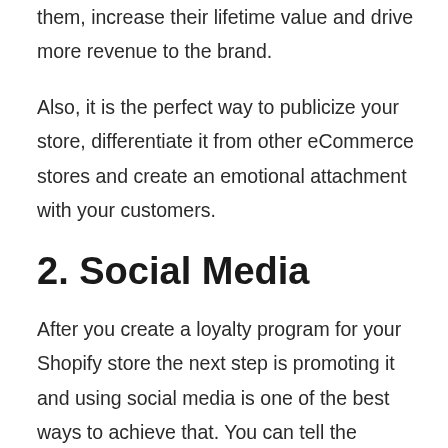them, increase their lifetime value and drive more revenue to the brand.
Also, it is the perfect way to publicize your store, differentiate it from other eCommerce stores and create an emotional attachment with your customers.
2. Social Media
After you create a loyalty program for your Shopify store the next step is promoting it and using social media is one of the best ways to achieve that. You can tell the advantages of being